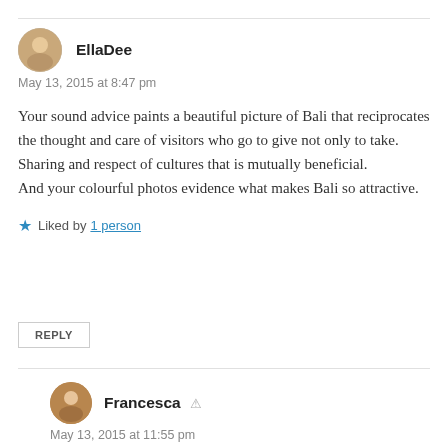EllaDee
May 13, 2015 at 8:47 pm
Your sound advice paints a beautiful picture of Bali that reciprocates the thought and care of visitors who go to give not only to take. Sharing and respect of cultures that is mutually beneficial.
And your colourful photos evidence what makes Bali so attractive.
Liked by 1 person
REPLY
Francesca
May 13, 2015 at 11:55 pm